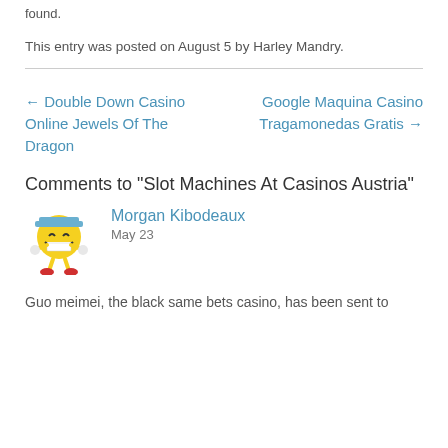found.
This entry was posted on August 5 by Harley Mandry.
← Double Down Casino Online Jewels Of The Dragon
Google Maquina Casino Tragamonedas Gratis →
Comments to "Slot Machines At Casinos Austria"
Morgan Kibodeaux
May 23
Guo meimei, the black same bets casino, has been sent to